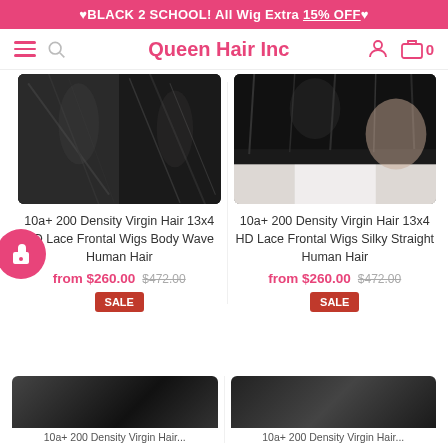♥BLACK 2 SCHOOL! All Wig Extra 15% OFF♥
Queen Hair Inc
[Figure (photo): Product photo of 10a+ 200 Density Virgin Hair 13x4 HD Lace Frontal Wigs Body Wave Human Hair - dark hair collage]
10a+ 200 Density Virgin Hair 13x4 HD Lace Frontal Wigs Body Wave Human Hair
from $260.00  $472.00
SALE
[Figure (photo): Product photo of 10a+ 200 Density Virgin Hair 13x4 HD Lace Frontal Wigs Silky Straight Human Hair - woman wearing straight wig]
10a+ 200 Density Virgin Hair 13x4 HD Lace Frontal Wigs Silky Straight Human Hair
from $260.00  $472.00
SALE